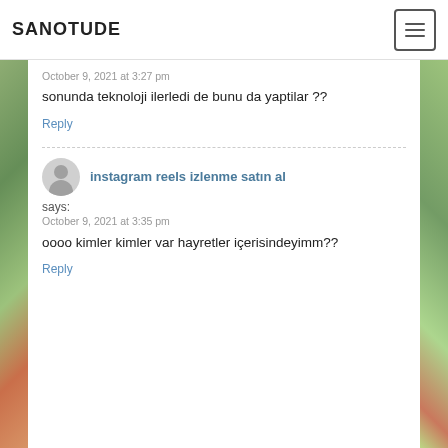SANOTUDE
October 9, 2021 at 3:27 pm
sonunda teknoloji ilerledi de bunu da yaptilar ??
Reply
instagram reels izlenme satın al
says:
October 9, 2021 at 3:35 pm
oooo kimler kimler var hayretler içerisindeyimm??
Reply